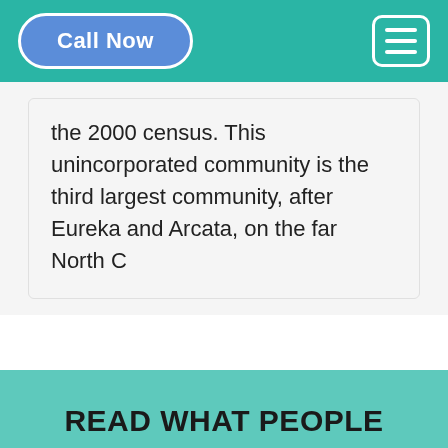Call Now | Navigation Menu
the 2000 census. This unincorporated community is the third largest community, after Eureka and Arcata, on the far North C
READ WHAT PEOPLE SAID ABOUT MCKINLEYVILLE REHABILITATION CENTER
CLIENT REVIEWS